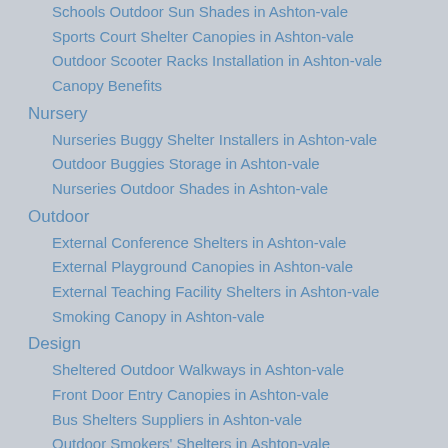Schools Outdoor Sun Shades in Ashton-vale
Sports Court Shelter Canopies in Ashton-vale
Outdoor Scooter Racks Installation in Ashton-vale
Canopy Benefits
Nursery
Nurseries Buggy Shelter Installers in Ashton-vale
Outdoor Buggies Storage in Ashton-vale
Nurseries Outdoor Shades in Ashton-vale
Outdoor
External Conference Shelters in Ashton-vale
External Playground Canopies in Ashton-vale
External Teaching Facility Shelters in Ashton-vale
Smoking Canopy in Ashton-vale
Design
Sheltered Outdoor Walkways in Ashton-vale
Front Door Entry Canopies in Ashton-vale
Bus Shelters Suppliers in Ashton-vale
Outdoor Smokers' Shelters in Ashton-vale
Sport Facility Shelters in Ashton-vale
Carport Shelter Canopies in Ashton-vale
Outdoor Waiting Shelter Suppliers in Ashton-vale
Industrial Canopy Suppliers in Ashton-vale